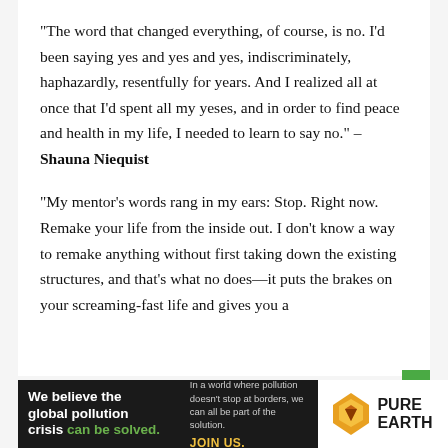"The word that changed everything, of course, is no. I'd been saying yes and yes and yes, indiscriminately, haphazardly, resentfully for years. And I realized all at once that I'd spent all my yeses, and in order to find peace and health in my life, I needed to learn to say no." – Shauna Niequist
“My mentor’s words rang in my ears: Stop. Right now. Remake your life from the inside out. I don’t know a way to remake anything without first taking down the existing structures, and that’s what no does—it puts the brakes on your screaming-fast life and gives you a
[Figure (infographic): Pure Earth advertisement banner: dark background with bold white/green text 'We believe the global pollution crisis can be solved.' Middle section with smaller text 'In a world where pollution doesn't stop at borders, we can all be part of the solution.' and yellow 'JOIN US.' text. Right section white background with Pure Earth logo (orange/yellow diamond shape with downward arrow) and 'PURE EARTH' text.]